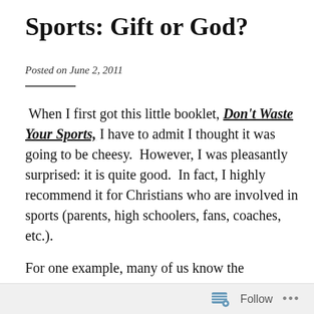Sports: Gift or God?
Posted on June 2, 2011
When I first got this little booklet, Don't Waste Your Sports, I have to admit I thought it was going to be cheesy.  However, I was pleasantly surprised: it is quite good.  In fact, I highly recommend it for Christians who are involved in sports (parents, high schoolers, fans, coaches, etc.).
For one example, many of us know the difficulties and discussions of sports and the